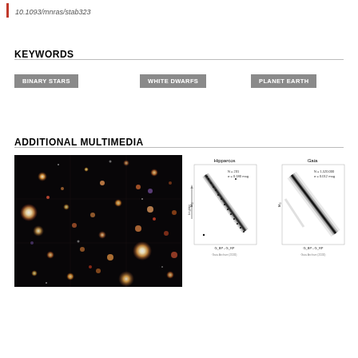10.1093/mnras/stab323
KEYWORDS
BINARY STARS
WHITE DWARFS
PLANET EARTH
ADDITIONAL MULTIMEDIA
[Figure (photo): Mosaic of star/galaxy images on dark background]
[Figure (scatter-plot): Two HR-diagram scatter plots labeled Hipparcos and Gaia showing M_G vs G_BP - G_RP color-magnitude diagrams]